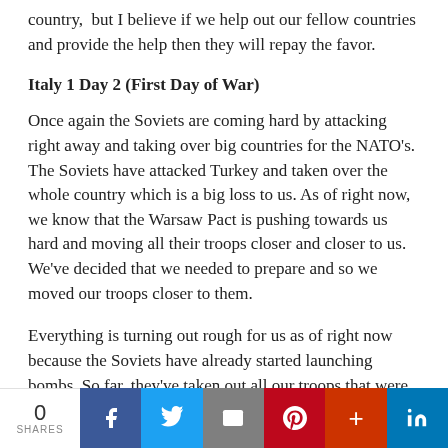country, but I believe if we help out our fellow countries and provide the help then they will repay the favor.
Italy 1 Day 2 (First Day of War)
Once again the Soviets are coming hard by attacking right away and taking over big countries for the NATO's. The Soviets have attacked Turkey and taken over the whole country which is a big loss to us. As of right now, we know that the Warsaw Pact is pushing towards us hard and moving all their troops closer and closer to us. We've decided that we needed to prepare and so we moved our troops closer to them.
Everything is turning out rough for us as of right now because the Soviets have already started launching bombs. So far, they've taken out all our troops that were in West Germany, Belgium, and the Netherlands. It was a major loss of troops but